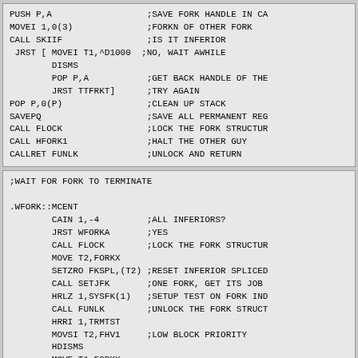PUSH P,A ;SAVE FORK HANDLE IN CA
MOVEI 1,0(3) ;FORKN OF OTHER FORK
CALL SKIIF ;IS IT INFERIOR
 JRST [ MOVEI T1,^D1000 ;NO, WAIT AWHILE
        DISMS
        POP P,A ;GET BACK HANDLE OF THE
        JRST TTFRKT] ;TRY AGAIN
POP P,0(P) ;CLEAN UP STACK
SAVEPQ ;SAVE ALL PERMANENT REG
CALL FLOCK ;LOCK THE FORK STRUCTUR
CALL HFORK1 ;HALT THE OTHER GUY
CALLRET FUNLK ;UNLOCK AND RETURN
;WAIT FOR FORK TO TERMINATE

.WFORK::MCENT
        CAIN 1,-4 ;ALL INFERIORS?
        JRST WFORKA ;YES
        CALL FLOCK ;LOCK THE FORK STRUCTUR
        MOVE T2,FORKX
        SETZRO FKSPL,(T2) ;RESET INFERIOR SPLICED
        CALL SETJFK ;ONE FORK, GET ITS JOB
        HRLZ 1,SYSFK(1) ;SETUP TEST ON FORK IND
        CALL FUNLK ;UNLOCK THE FORK STRUCT
        HRRI 1,TRMTST
        MOVSI T2,FHV1 ;LOW BLOCK PRIORITY
        HDISMS
        MOVE T1,FORKX